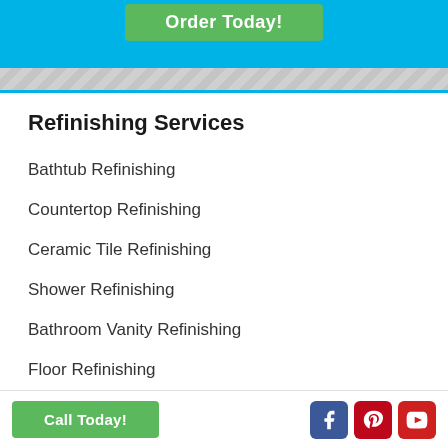Order Today!
Refinishing Services
Bathtub Refinishing
Countertop Refinishing
Ceramic Tile Refinishing
Shower Refinishing
Bathroom Vanity Refinishing
Floor Refinishing
Fiberglass Tub Repair
Call Today!